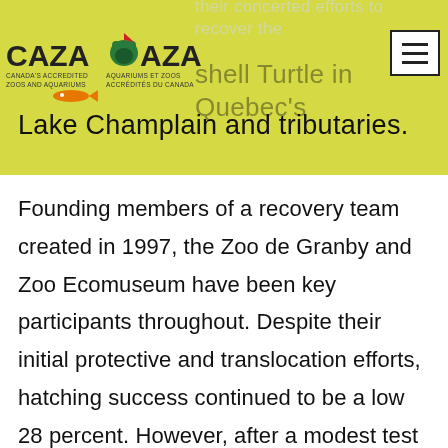[Figure (logo): CAZA/AZAC logo - Canada's Accredited Zoos and Aquariums with bear and fish graphics]
their concerted efforts to recover the [Soft]shell Turtle in Quebec's Lake Champlain and tributaries.
Founding members of a recovery team created in 1997, the Zoo de Granby and Zoo Ecomuseum have been key participants throughout. Despite their initial protective and translocation efforts, hatching success continued to be a low 28 percent. However, after a modest test launch in 2009 of two artificial incubation nests, they have since